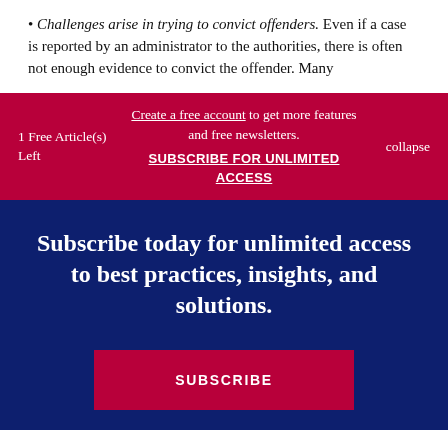Challenges arise in trying to convict offenders. Even if a case is reported by an administrator to the authorities, there is often not enough evidence to convict the offender. Many
1 Free Article(s) Left  |  Create a free account to get more features and free newsletters.  |  SUBSCRIBE FOR UNLIMITED ACCESS  |  collapse
Subscribe today for unlimited access to best practices, insights, and solutions.
SUBSCRIBE